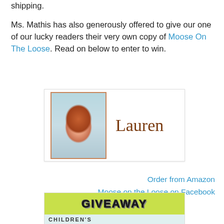shipping.
Ms. Mathis has also generously offered to give our one of our lucky readers their very own copy of Moose On The Loose. Read on below to enter to win.
[Figure (photo): A boxed image of a red-haired woman (Lauren) with her name written in brown cursive script beside the photo, on a white card with border.]
Order from Amazon
Moose on the Loose on Facebook
[Figure (infographic): A giveaway banner with yellow-green background showing 'GIVEAWAY' in large bold outlined letters, and a partial book cover below showing 'CHILDREN'S' text.]